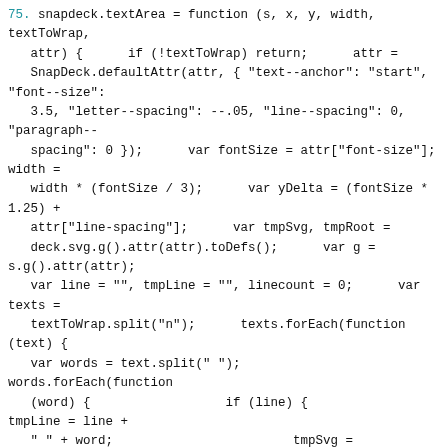75. snapdeck.textArea = function (s, x, y, width, textToWrap, attr) {      if (!textToWrap) return;      attr = SnapDeck.defaultAttr(attr, { "text--anchor": "start", "font--size": 3.5, "letter--spacing": --.05, "line--spacing": 0, "paragraph--spacing": 0 });      var fontSize = attr["font-size"];      width = width * (fontSize / 3);      var yDelta = (fontSize * 1.25) + attr["line-spacing"];      var tmpSvg, tmpRoot = deck.svg.g().attr(attr).toDefs();      var g = s.g().attr(attr);      var line = "", tmpLine = "", linecount = 0;      var texts = textToWrap.split("n");      texts.forEach(function (text) {      var words = text.split(" ");            words.forEach(function (word) {                  if (line) {                  tmpLine = line + " " + word;                        tmpSvg = tmpRoot.text(0, 0, tmpLine);                        if (tmpSvg.node.getBoundingClientRect().width > width) {              g.text(x, y, line);                        y = y + yDelta;                        linecount++;                        line = tmpLine = word;                  } else {      line = line + " " + word;            }      tmpSvg.remove();      } else {      line =